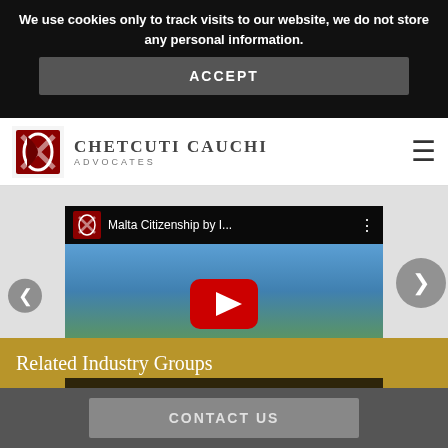We use cookies only to track visits to our website, we do not store any personal information.
ACCEPT
[Figure (logo): Chetcuti Cauchi Advocates logo with stylized red/dark icon]
CHETCUTI CAUCHI ADVOCATES
[Figure (screenshot): YouTube video embed showing Malta Citizenship by Investment video with scenic harbor view]
Related Industry Groups
CONTACT US